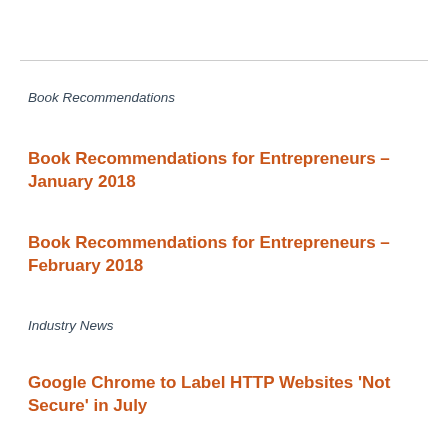Book Recommendations
Book Recommendations for Entrepreneurs – January 2018
Book Recommendations for Entrepreneurs – February 2018
Industry News
Google Chrome to Label HTTP Websites 'Not Secure' in July